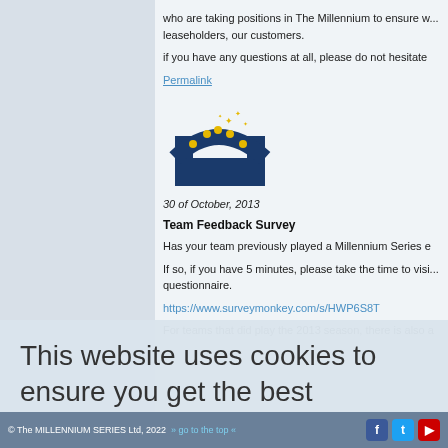who are taking positions in The Millennium to ensure we serve our leaseholders, our customers.
if you have any questions at all, please do not hesitate
Permalink
[Figure (logo): Millennium Series logo with arch shape and stars, blue and gold colors]
30 of October, 2013
Team Feedback Survey
Has your team previously played a Millennium Series e
If so, if you have 5 minutes, please take the time to visit the questionnaire.
https://www.surveymonkey.com/s/HWP6S8T
For teams that did play the 2013 season, there is also a
This website uses cookies to ensure you get the best experience on our website.  Learn more
Got it!
© The MILLENNIUM SERIES Ltd, 2022 » go to the top «